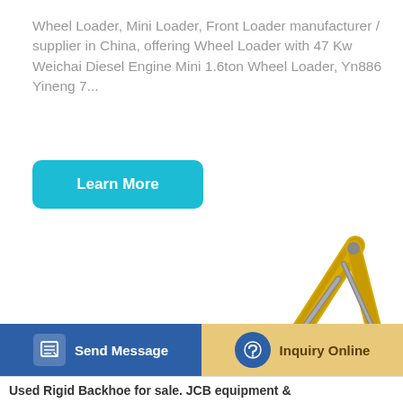Wheel Loader, Mini Loader, Front Loader manufacturer / supplier in China, offering Wheel Loader with 47 Kw Weichai Diesel Engine Mini 1.6ton Wheel Loader, Yn886 Yineng 7...
[Figure (other): Blue rounded 'Learn More' button]
[Figure (photo): Yellow LOVOL tracked excavator (backhoe) with articulated arm and bucket, shown on white background]
[Figure (other): Bottom action bar with 'Send Message' button (blue, with document/edit icon) on the left and 'Inquiry Online' button (tan/gold, with headset icon) on the right]
Used Rigid Backhoe for sale. JCB equipment &